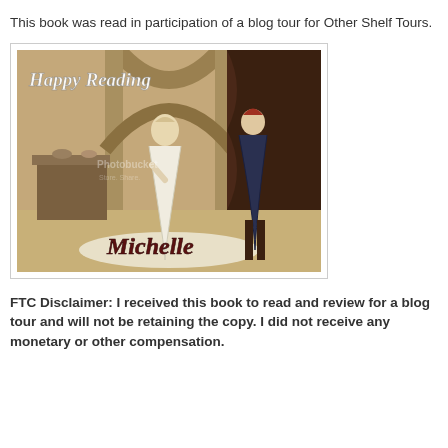This book was read in participation of a blog tour for Other Shelf Tours.
[Figure (illustration): A decorative blog signature image with a medieval-style oil painting background showing a woman in white robes and a man in dark attire in a stone chamber. Text overlay reads 'Happy Reading' at the top in script font and 'Michelle' at the bottom in decorative script. A photobucket watermark is visible.]
FTC Disclaimer:  I received this book to read and review for a blog tour and will not be retaining the copy.  I did not receive any monetary or other compensation.